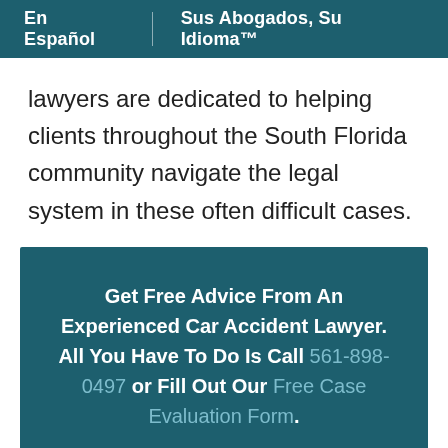En Español | Sus Abogados, Su Idioma™
lawyers are dedicated to helping clients throughout the South Florida community navigate the legal system in these often difficult cases.
Get Free Advice From An Experienced Car Accident Lawyer. All You Have To Do Is Call 561-898-0497 or Fill Out Our Free Case Evaluation Form.